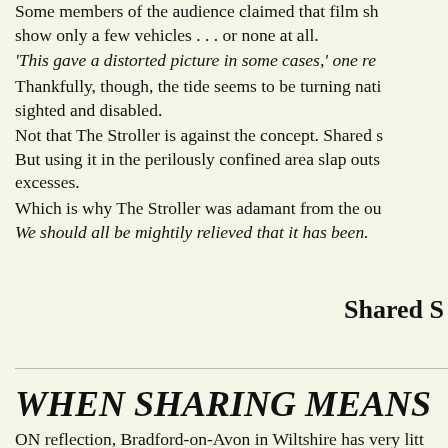Some members of the audience claimed that film sh show only a few vehicles . . . or none at all. 'This gave a distorted picture in some cases,' one re Thankfully, though, the tide seems to be turning nati sighted and disabled. Not that The Stroller is against the concept. Shared s But using it in the perilously confined area slap outs excesses. Which is why The Stroller was adamant from the ou We should all be mightily relieved that it has been.
Shared S
WHEN SHARING MEANS
ON reflection, Bradford-on-Avon in Wiltshire has very litt pedestrian crossings ◆ and at least 11 roundabouts! The ro